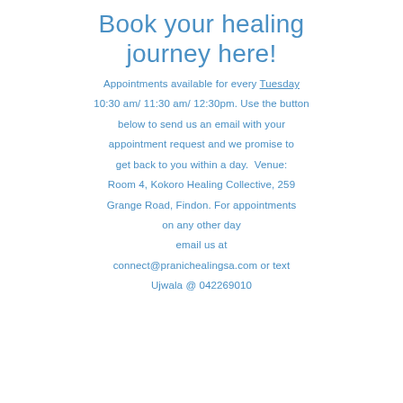Book your healing journey here!
Appointments available for every Tuesday 10:30 am/ 11:30 am/ 12:30pm. Use the button below to send us an email with your appointment request and we promise to get back to you within a day.  Venue: Room 4, Kokoro Healing Collective, 259 Grange Road, Findon. For appointments on any other day email us at connect@pranichealingsa.com or text Ujwala @ 042269010